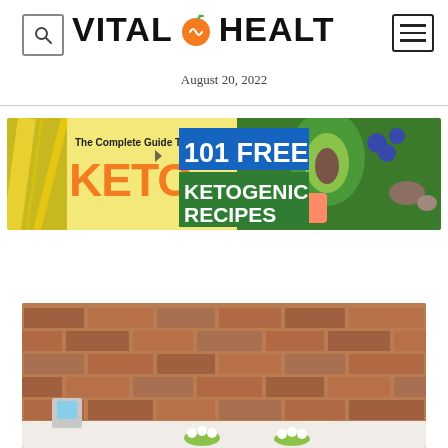[Figure (logo): Vital Health logo with search icon and hamburger menu]
August 20, 2022
[Figure (infographic): Banner advertisement: The Complete Guide To KETO - 101 FREE KETOGENIC RECIPES with food imagery including avocado, berries, and vegetables]
[Figure (photo): Bottom portion of a room with brick wall background and flowers visible at bottom]